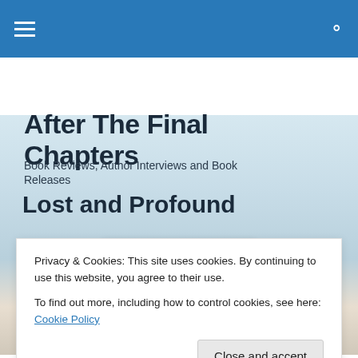After The Final Chapters — navigation bar
[Figure (screenshot): Hero banner image showing a blurred background with book/knitting texture, light blue and beige tones]
After The Final Chapters
Book Reviews, Author Interviews and Book Releases
Lost and Profound
[Figure (photo): Book cover for 'Lost and Profound' showing a cursive script title in teal/green on a cream background]
Privacy & Cookies: This site uses cookies. By continuing to use this website, you agree to their use.
To find out more, including how to control cookies, see here: Cookie Policy
Close and accept